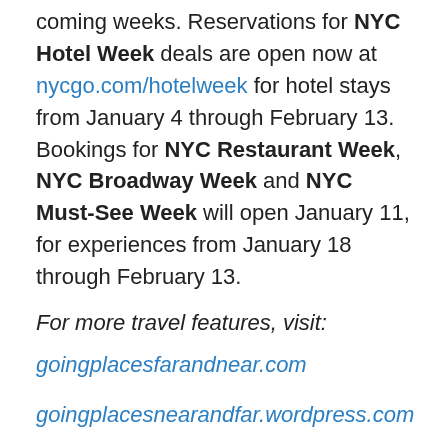coming weeks. Reservations for NYC Hotel Week deals are open now at nycgo.com/hotelweek for hotel stays from January 4 through February 13. Bookings for NYC Restaurant Week, NYC Broadway Week and NYC Must-See Week will open January 11, for experiences from January 18 through February 13.
For more travel features, visit:
goingplacesfarandnear.com
goingplacesnearandfar.wordpress.com
moralcompasstravel.info
www.huffingtonpost.com/author/karen-rubin
travelwritersmagazine.com/TravelFeaturesSyndicate/